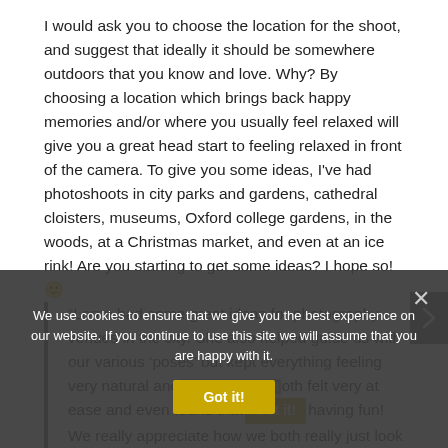I would ask you to choose the location for the shoot, and suggest that ideally it should be somewhere outdoors that you know and love. Why? By choosing a location which brings back happy memories and/or where you usually feel relaxed will give you a great head start to feeling relaxed in front of the camera. To give you some ideas, I've had photoshoots in city parks and gardens, cathedral cloisters, museums, Oxford college gardens, in the woods, at a Christmas market, and even at an ice rink! Are you starting to get some ideas? I hope so! 🙂
“Lorna had some great ideas for photography venues in the city. She also helped guide us with our various ‘poses’ but kept everything feeling very natural and… Both felt very at ease and even found that… having fun! We really appreciate how we both really just look like
We use cookies to ensure that we give you the best experience on our website. If you continue to use this site we will assume that you are happy with it.
Got it!